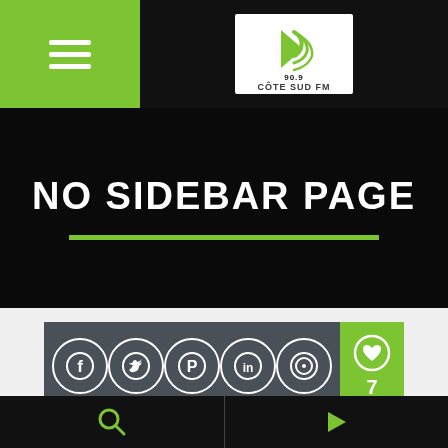Côte Sud FM 90.9 — Navigation header with menu button and logo
NO SIDEBAR PAGE
[Figure (infographic): Social sharing bar with Facebook, Twitter, Pinterest, LinkedIn, WhatsApp icons and a like counter showing 7]
This page has no sidebar, and is very useful to organize your space while still being in a boxed
Bottom navigation bar with search and play icons